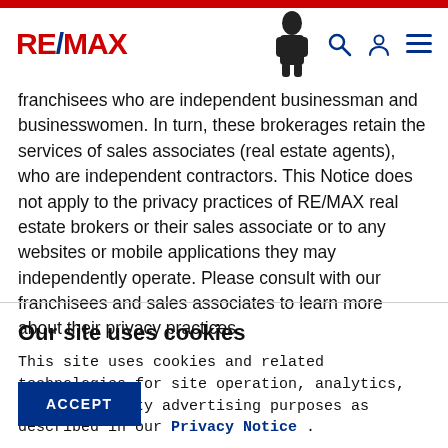RE/MAX
franchisees who are independent businessman and businesswomen. In turn, these brokerages retain the services of sales associates (real estate agents), who are independent contractors. This Notice does not apply to the privacy practices of RE/MAX real estate brokers or their sales associate or to any websites or mobile applications they may independently operate. Please consult with our franchisees and sales associates to learn more about their privacy practices.
Our site uses cookies
This site uses cookies and related technologies for site operation, analytics, and third party advertising purposes as described in our Privacy Notice .